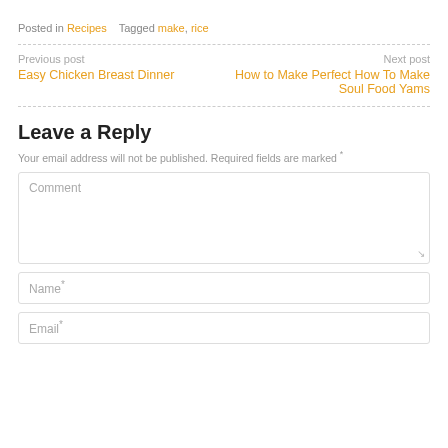Posted in Recipes   Tagged make, rice
Previous post
Easy Chicken Breast Dinner
Next post
How to Make Perfect How To Make Soul Food Yams
Leave a Reply
Your email address will not be published. Required fields are marked *
Comment
Name*
Email*